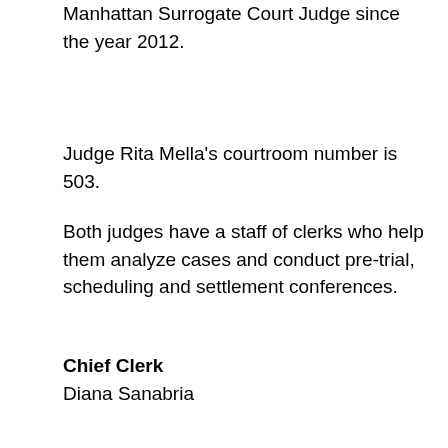Manhattan Surrogate Court Judge since the year 2012.
Judge Rita Mella's courtroom number is 503.
Both judges have a staff of clerks who help them analyze cases and conduct pre-trial, scheduling and settlement conferences.
Chief Clerk
Diana Sanabria
Deputy Chief Clerk
Jana Cohn
Ms. Sanabria really shines during the Manhattan